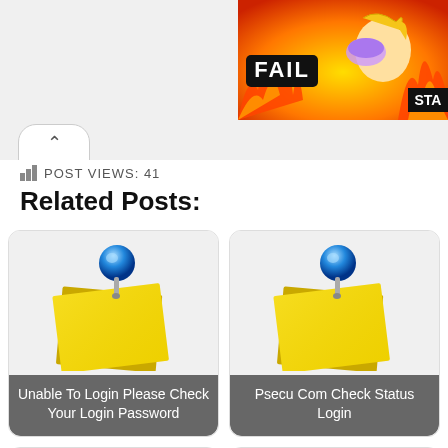[Figure (illustration): Top-right banner with FAIL text, cartoon face, and fire/flame graphics background]
POST VIEWS: 41
Related Posts:
[Figure (illustration): Sticky note with blue pushpin icon thumbnail for post: Unable To Login Please Check Your Login Password]
Unable To Login Please Check Your Login Password
[Figure (illustration): Sticky note with blue pushpin icon thumbnail for post: Psecu Com Check Status Login]
Psecu Com Check Status Login
[Figure (illustration): Sticky note with blue pushpin icon thumbnail, partially visible bottom-left post]
[Figure (illustration): Sticky note with blue pushpin icon thumbnail, partially visible bottom-right post with partial label]